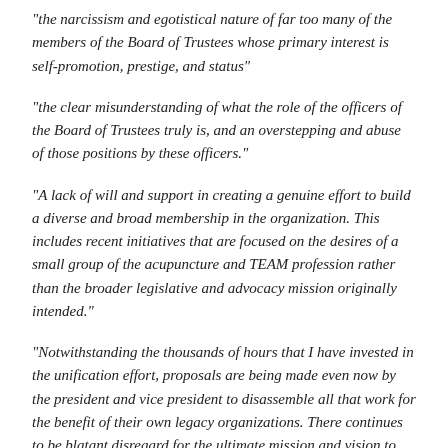“the narcissism and egotistical nature of far too many of the members of the Board of Trustees whose primary interest is self-promotion, prestige, and status”
“the clear misunderstanding of what the role of the officers of the Board of Trustees truly is, and an overstepping and abuse of those positions by these officers.”
“A lack of will and support in creating a genuine effort to build a diverse and broad membership in the organization. This includes recent initiatives that are focused on the desires of a small group of the acupuncture and TEAM profession rather than the broader legislative and advocacy mission originally intended.”
“Notwithstanding the thousands of hours that I have invested in the unification effort, proposals are being made even now by the president and vice president to disassemble all that work for the benefit of their own legacy organizations. There continues to be blatant disregard for the ultimate mission and vision to elevate CalATMA from an amateur organization to a professional trade organization.”